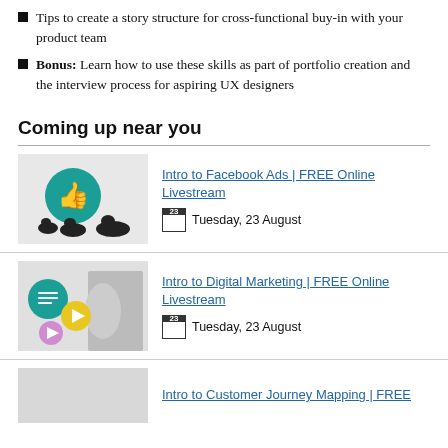Tips to create a story structure for cross-functional buy-in with your product team
Bonus: Learn how to use these skills as part of portfolio creation and the interview process for aspiring UX designers
Coming up near you
[Figure (photo): Thumbnail image with teal thumbs-up icon and ducks for Intro to Facebook Ads event]
Intro to Facebook Ads | FREE Online Livestream
Tuesday, 23 August
[Figure (photo): Thumbnail image with marketing icons and a person listening for Intro to Digital Marketing event]
Intro to Digital Marketing | FREE Online Livestream
Tuesday, 23 August
[Figure (photo): Partial thumbnail for Intro to Customer Journey Mapping event]
Intro to Customer Journey Mapping | FREE